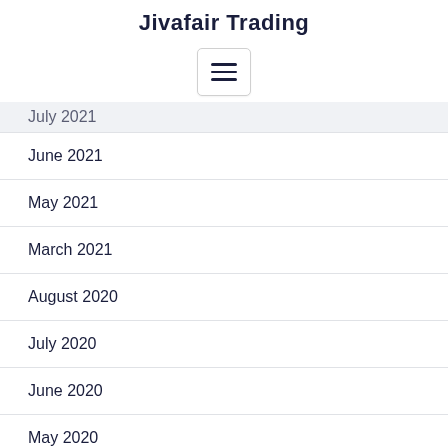Jivafair Trading
[Figure (other): Hamburger menu button icon with three horizontal lines]
July 2021
June 2021
May 2021
March 2021
August 2020
July 2020
June 2020
May 2020
April 2020